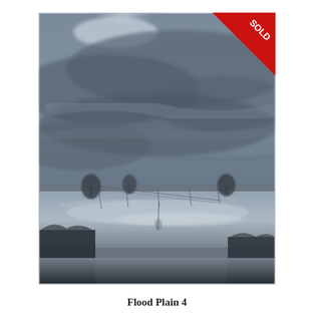[Figure (photo): A moody landscape painting/photograph titled 'Flood Plain 4'. It shows a bleak, overcast scene with a large dark grey sky dominating the upper two-thirds of the image. The lower portion depicts a flooded plain with standing water reflecting the dull sky, silhouettes of sparse trees along the horizon, and patches of reeds or vegetation in the foreground. A 'SOLD' red ribbon banner appears in the upper-right corner of the image.]
Flood Plain 4